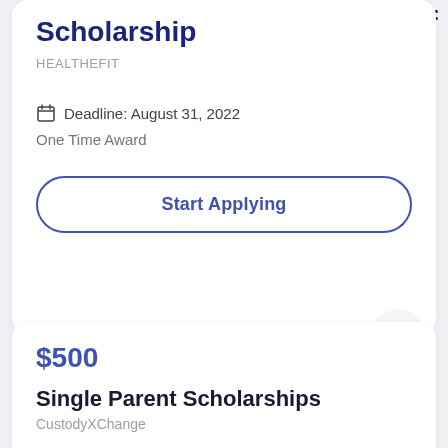☰
Scholarship
HEALTHEFIT
Deadline: August 31, 2022
One Time Award
Start Applying
$500
Single Parent Scholarships
CustodyXChange